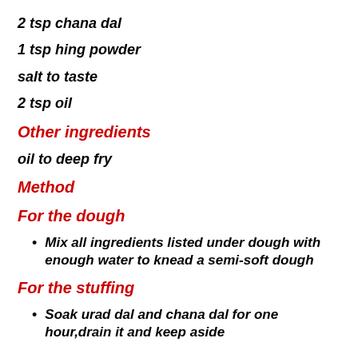2 tsp chana dal
1 tsp hing powder
salt to taste
2 tsp oil
Other ingredients
oil to deep fry
Method
For the dough
Mix all ingredients listed under dough with enough water to knead a semi-soft dough
For the stuffing
Soak urad dal and chana dal for one hour,drain it and keep aside